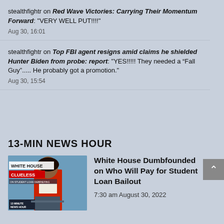stealthfightr on Red Wave Victories: Carrying Their Momentum Forward: "VERY WELL PUT!!!!"
Aug 30, 16:01
stealthfightr on Top FBI agent resigns amid claims he shielded Hunter Biden from probe: report: "YES!!!!! They needed a “Fall Guy”..... He probably got a promotion."
Aug 30, 15:54
13-MIN NEWS HOUR
[Figure (photo): Thumbnail image of a White House press briefing with text overlay reading WHITE HOUSE CLUELESS ON STUDENT LOAN DEBRIEFING and 13 MINUTE NEWS HOUR logo]
White House Dumbfounded on Who Will Pay for Student Loan Bailout
7:30 am August 30, 2022